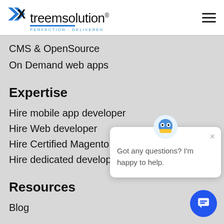[Figure (logo): Xtreemsolution logo with blue double-arrow X, company name, tagline PERFECTION DELIVERED]
CMS & OpenSource
On Demand web apps
Expertise
Hire mobile app developer
Hire Web developer
Hire Certified Magento D[eveloper]
Hire dedicated develope[r]
[Figure (screenshot): Chat popup bubble with robot icon saying 'Got any questions? I'm happy to help.' with close X button]
Resources
Blog